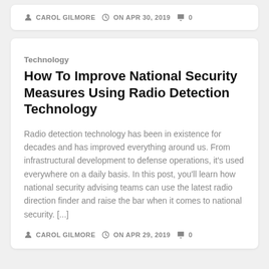CAROL GILMORE  ON APR 30, 2019  0
Technology
How To Improve National Security Measures Using Radio Detection Technology
Radio detection technology has been in existence for decades and has improved everything around us. From infrastructural development to defense operations, it's used everywhere on a daily basis. In this post, you'll learn how national security advising teams can use the latest radio direction finder and raise the bar when it comes to national security. [...]
CAROL GILMORE  ON APR 29, 2019  0